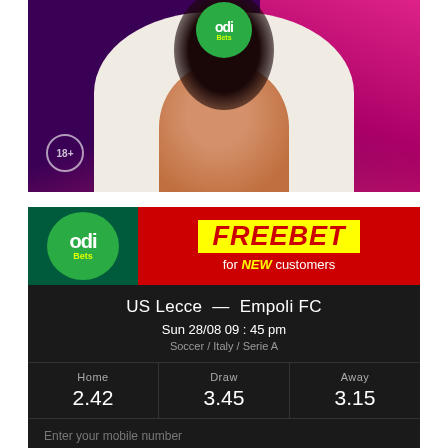[Figure (photo): Pregnant woman wearing white OdiBets hoodie, holding belly, purple and pink background, 18+ badge in bottom left]
[Figure (infographic): OdiBets betting card showing FREEBET for NEW customers promotion, US Lecce vs Empoli FC match odds: Home 2.42, Draw 3.45, Away 3.15, Sun 28/08 09:45 pm, Soccer/Italy/Serie A, mobile number input field]
US Lecce — Empoli FC
Sun 28/08 09 : 45 pm
Soccer / Italy / Serie A
Home 2.42
Draw 3.45
Away 3.15
Enter your mobile number
07xxxxxxxx or 01xxxxxxxx